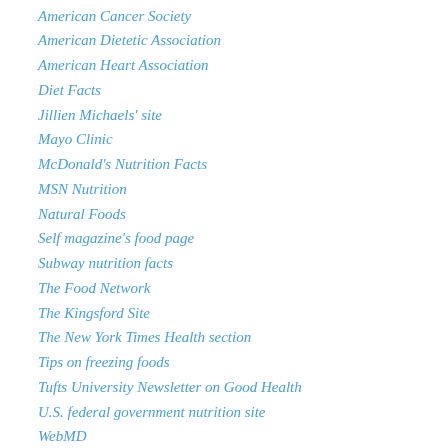American Cancer Society
American Dietetic Association
American Heart Association
Diet Facts
Jillien Michaels' site
Mayo Clinic
McDonald's Nutrition Facts
MSN Nutrition
Natural Foods
Self magazine's food page
Subway nutrition facts
The Food Network
The Kingsford Site
The New York Times Health section
Tips on freezing foods
Tufts University Newsletter on Good Health
U.S. federal government nutrition site
WebMD
WordPress.com
WordPress.org